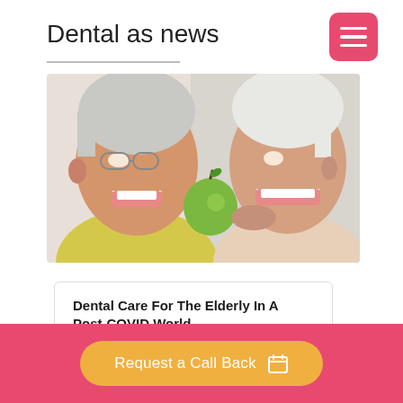Dental as news
[Figure (photo): An elderly man (left, wearing glasses and yellow shirt) and an elderly woman (right, white/blonde hair) facing each other smiling, sharing a green apple bite together on a white background.]
Dental Care For The Elderly In A Post-COVID World
There is no doubt that COVID-19 has reshaped the way we approach dental
Request a Call Back